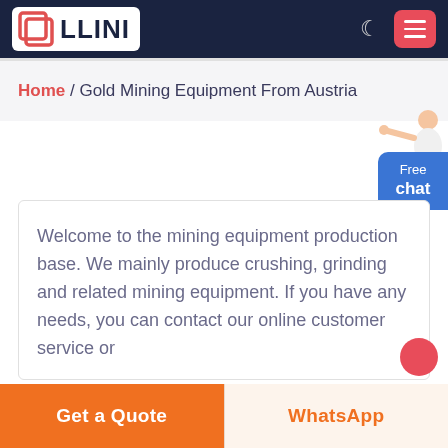[Figure (logo): LLINI logo with red square bracket icon and dark blue bold text on white background, inside a dark navy navigation bar with moon icon and red hamburger menu button]
Home / Gold Mining Equipment From Austria
[Figure (illustration): Customer support person illustration and blue 'Free chat' button widget on right side]
Welcome to the mining equipment production base. We mainly produce crushing, grinding and related mining equipment. If you have any needs, you can contact our online customer service or
Get a Quote
WhatsApp